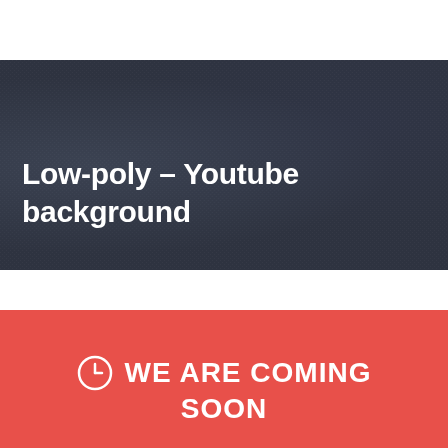Low-poly – Youtube background
WE ARE COMING SOON